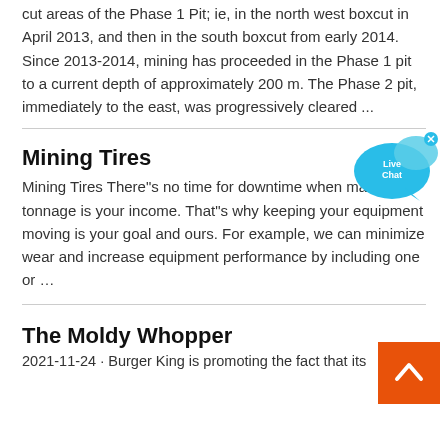cut areas of the Phase 1 Pit; ie, in the north west boxcut in April 2013, and then in the south boxcut from early 2014. Since 2013-2014, mining has proceeded in the Phase 1 pit to a current depth of approximately 200 m. The Phase 2 pit, immediately to the east, was progressively cleared ...
Mining Tires
[Figure (illustration): Live Chat speech bubble icon in cyan/blue colors with an X close button in top right corner]
Mining Tires There"s no time for downtime when material tonnage is your income. That"s why keeping your equipment moving is your goal and ours. For example, we can minimize wear and increase equipment performance by including one or …
[Figure (illustration): Orange square back-to-top button with a white upward chevron arrow]
The Moldy Whopper
2021-11-24 · Burger King is promoting the fact that its